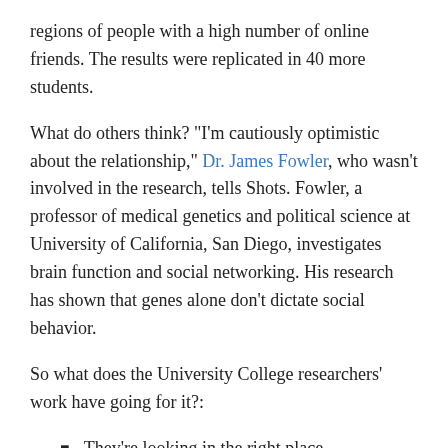regions of people with a high number of online friends. The results were replicated in 40 more students.
What do others think? "I'm cautiously optimistic about the relationship," Dr. James Fowler, who wasn't involved in the research, tells Shots. Fowler, a professor of medical genetics and political science at University of California, San Diego, investigates brain function and social networking. His research has shown that genes alone don't dictate social behavior.
So what does the University College researchers' work have going for it?:
They're looking in the right place.
They did see more grey matter in the brains of people